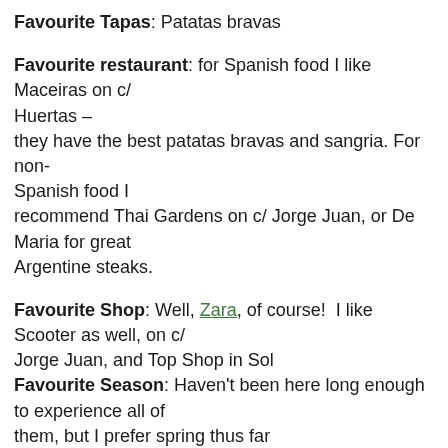Favourite Tapas: Patatas bravas
Favourite restaurant: for Spanish food I like Maceiras on c/ Huertas – they have the best patatas bravas and sangria. For non-Spanish food I recommend Thai Gardens on c/ Jorge Juan, or De Maria for great Argentine steaks.
Favourite Shop: Well, Zara, of course!  I like Scooter as well, on c/ Jorge Juan, and Top Shop in Sol
Favourite Season: Haven't been here long enough to experience all of them, but I prefer spring thus far
Favourite Barrio: 'Las Letras' or Huertas. I like that it has historically been the theatrical and literary center of the city